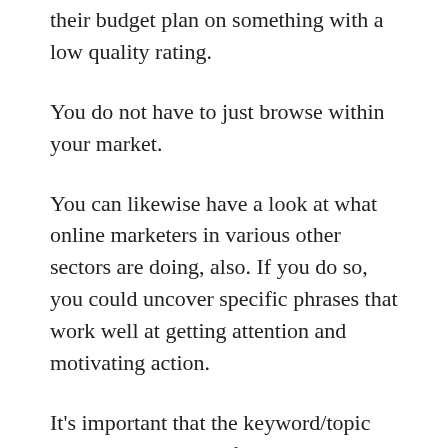PPC advertisement, they wouldn't keep spending their budget plan on something with a low quality rating.
You do not have to just browse within your market.
You can likewise have a look at what online marketers in various other sectors are doing, also. If you do so, you could uncover specific phrases that work well at getting attention and motivating action.
It's important that the keyword/topic within the heading of your advertisement additionally matches the page that people will be required to, once they click on the ad.